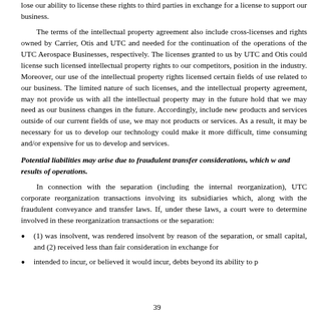lose our ability to license these rights to third parties in exchange for a license to support our business.
The terms of the intellectual property agreement also include cross-licenses and rights owned by Carrier, Otis and UTC and needed for the continuation of the operations of the UTC Aerospace Businesses, respectively. The licenses granted to us by UTC and Otis could license such licensed intellectual property rights to our competitors, position in the industry. Moreover, our use of the intellectual property rights licensed certain fields of use related to our business. The limited nature of such licenses, and the intellectual property agreement, may not provide us with all the intellectual property may in the future hold that we may need as our business changes in the future. Accordingly, include new products and services outside of our current fields of use, we may not products or services. As a result, it may be necessary for us to develop our technology could make it more difficult, time consuming and/or expensive for us to develop and services.
Potential liabilities may arise due to fraudulent transfer considerations, which would affect our business and results of operations.
In connection with the separation (including the internal reorganization), UTC corporate reorganization transactions involving its subsidiaries which, along with the separation, may implicate fraudulent conveyance and transfer laws. If, under these laws, a court were to determine that any entity involved in these reorganization transactions or the separation:
(1) was insolvent, was rendered insolvent by reason of the separation, or was left with unreasonably small capital, and (2) received less than fair consideration in exchange for
intended to incur, or believed it would incur, debts beyond its ability to pay
39